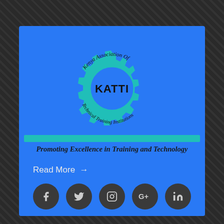[Figure (logo): KATTI logo — Kenya Association Of Technical Training Institutions — gear/cog emblem with teal bar and italic tagline 'Promoting Excellence in Training and Technology']
Read More →
[Figure (infographic): Social media icon buttons: Facebook, Twitter, Instagram, Google+, LinkedIn — dark circular buttons in a row]